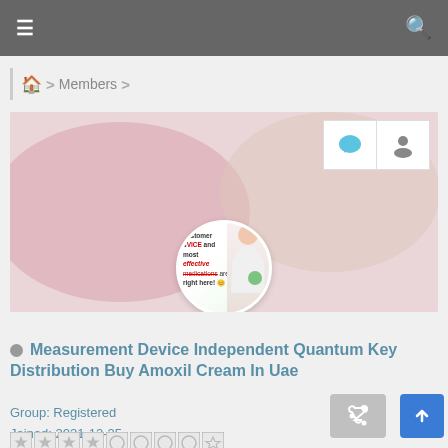≡  🔍
🏠 > Members >
[Figure (photo): Profile banner with blurred pink/beige gradient background. Two icon buttons (chat bubble and user) in top right. Circular profile avatar showing pharmacy advertisement text and person silhouette.]
Measurement Device Independent Quantum Key Distribution Buy Amoxil Cream In Uae
Group: Registered
Joined: 2021-12-25
New Member